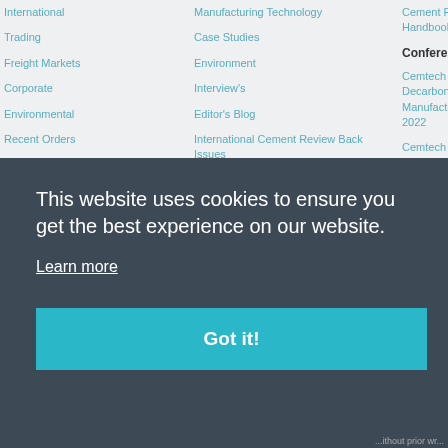International
Trading
Freight Markets
Corporate
Environmental
Recent Orders
Building Bulletin
RSS News Feed
Manufacturing Technology
Case Studies
Environment
Interview's
Editor's Blog
International Cement Review Back Issues
Cement Pla... Handbook S...
Conferenc...
Cemtech Li... Decarbonis... Manufactur... 2022
Cemtech E... Spain, 02-0...
Training: Pr... decarbonis... Barcelona...
Diary Dates
Conference...
Conference...
Conference...
This website uses cookies to ensure you get the best experience on our website.
Learn more
Got it!
...ithout prior wr...